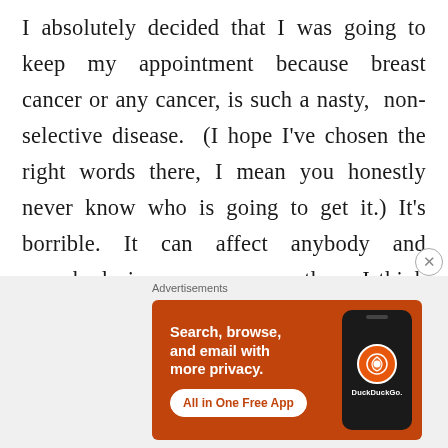I absolutely decided that I was going to keep my appointment because breast cancer or any cancer, is such a nasty,  non-selective disease.  (I hope I've chosen the right words there, I mean you honestly never know who is going to get it.) It's borrible. It can affect anybody and everybody in one way or another.  I think most of us are, or have been, affected by cancer at some point in our lives, whether it is us
[Figure (other): DuckDuckGo advertisement banner: orange background with white text 'Search, browse, and email with more privacy.' and a white button 'All in One Free App', alongside an image of a smartphone showing the DuckDuckGo logo.]